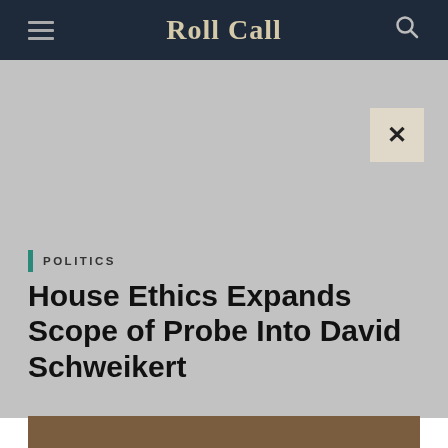Roll Call
POLITICS
House Ethics Expands Scope of Probe Into David Schweikert
[Figure (photo): Photo of David Schweikert, a man with grey hair visible from the shoulders up, partially cropped at the bottom of the page]